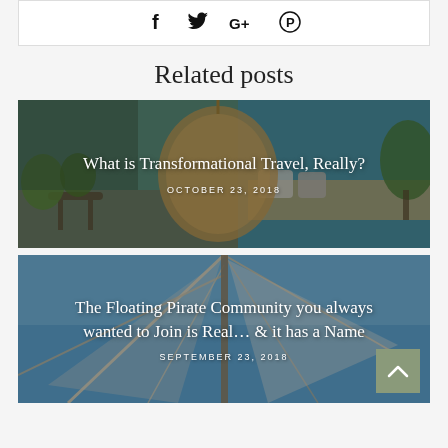[Figure (infographic): Social sharing bar with icons: Facebook (f), Twitter (bird/t), Google+ (G+), Pinterest (pin/circle)]
Related posts
[Figure (photo): Blog post card with photo of a woman sitting in a hanging rattan egg chair in a colorful room. Overlay text: 'What is Transformational Travel, Really?' dated OCTOBER 23, 2018]
[Figure (photo): Blog post card with photo of sailboat ropes and mast against blue sky. Overlay text: 'The Floating Pirate Community you always wanted to Join is Real... & it has a Name' dated SEPTEMBER 23, 2018. Back-to-top button in bottom right.]